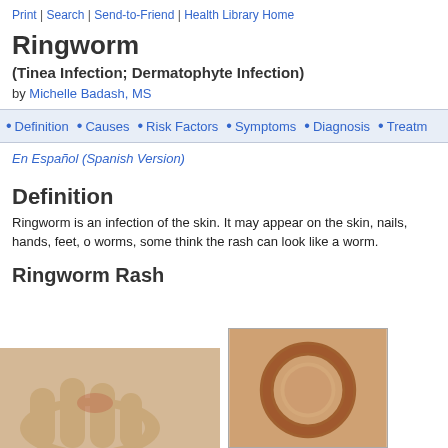Print | Search | Send-to-Friend | Health Library Home
Ringworm
(Tinea Infection; Dermatophyte Infection)
by Michelle Badash, MS
Definition • Causes • Risk Factors • Symptoms • Diagnosis • Treatm
En Español (Spanish Version)
Definition
Ringworm is an infection of the skin. It may appear on the skin, nails, hands, feet, o worms, some think the rash can look like a worm.
Ringworm Rash
[Figure (photo): Two photos: left shows a hand/finger with ringworm rash, right shows a close-up of skin with a circular ringworm lesion with raised darker border]